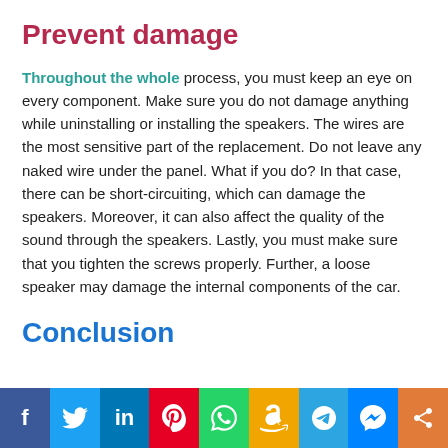Prevent damage
Throughout the whole process, you must keep an eye on every component. Make sure you do not damage anything while uninstalling or installing the speakers. The wires are the most sensitive part of the replacement. Do not leave any naked wire under the panel. What if you do? In that case, there can be short-circuiting, which can damage the speakers. Moreover, it can also affect the quality of the sound through the speakers. Lastly, you must make sure that you tighten the screws properly. Further, a loose speaker may damage the internal components of the car.
Conclusion
Social share bar: Facebook, Twitter, LinkedIn, Pinterest, WhatsApp, Amazon, Telegram, Messenger, Share